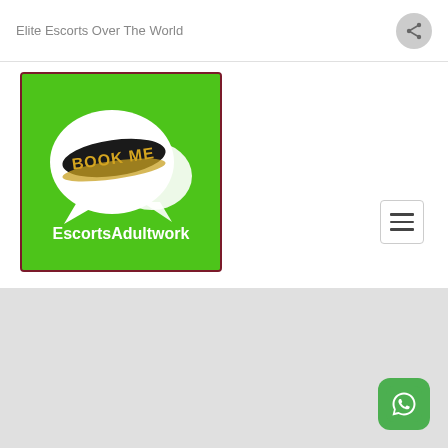Elite Escorts Over The World
[Figure (logo): EscortsAdultwork app logo: green square background with white speech bubbles and 'BOOK ME' text on black/gold brushstroke. Text 'EscortsAdultwork' at bottom in white.]
[Figure (logo): WhatsApp icon: green rounded square with white phone/chat bubble logo]